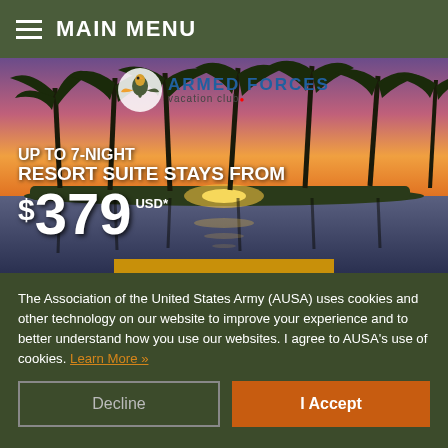MAIN MENU
[Figure (photo): Armed Forces Vacation Club advertisement showing a tropical beach sunset with palm trees and the offer: UP TO 7-NIGHT RESORT SUITE STAYS FROM $379 USD*]
The Association of the United States Army (AUSA) uses cookies and other technology on our website to improve your experience and to better understand how you use our websites. I agree to AUSA's use of cookies. Learn More »
Decline
I Accept